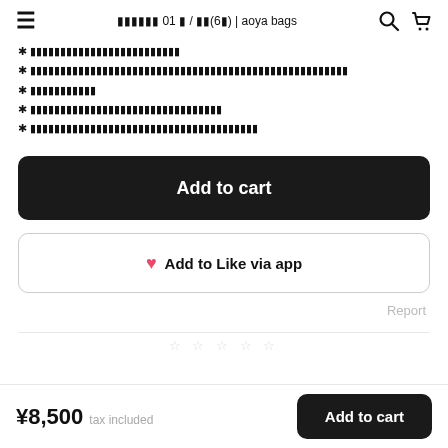≡  ▦▦▦▦▦▦ 01 ▦ / ▦▦(6▦) | aoya bags  🔍  🛒
※ ▦▦▦▦▦▦▦▦▦▦▦▦▦▦▦▦▦▦▦▦▦▦▦▦▦
※ ▦▦▦▦▦▦▦▦▦▦▦▦▦▦▦▦▦▦▦▦▦▦▦▦▦▦▦▦▦▦▦▦▦▦▦▦▦▦▦▦▦▦▦▦▦▦▦▦▦▦▦▦▦▦
※ ▦▦▦▦▦▦▦▦▦▦▦
※ ▦▦▦▦▦▦▦▦▦▦▦▦▦▦▦▦▦▦▦▦▦▦▦▦▦▦▦▦▦▦▦▦
※ ▦▦▦▦▦▦▦▦▦▦▦▦▦▦▦▦▦▦▦▦▦▦▦▦▦▦▦▦▦▦▦▦▦▦▦▦▦▦▦
Add to cart
♥ Add to Like via app
Report
¥8,500 tax included
Add to cart